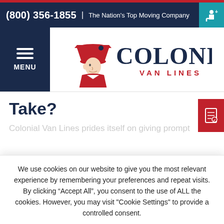(800) 356-1855 | The Nation's Top Moving Company
[Figure (logo): Colonial Van Lines logo with colonial soldier figure in red tricorn hat and 'COLONIAL VAN LINES' text in navy blue]
Take?
Colonial Van Lines prides itself on giving prompt
We use cookies on our website to give you the most relevant experience by remembering your preferences and repeat visits. By clicking “Accept All”, you consent to the use of ALL the cookies. However, you may visit "Cookie Settings" to provide a controlled consent.